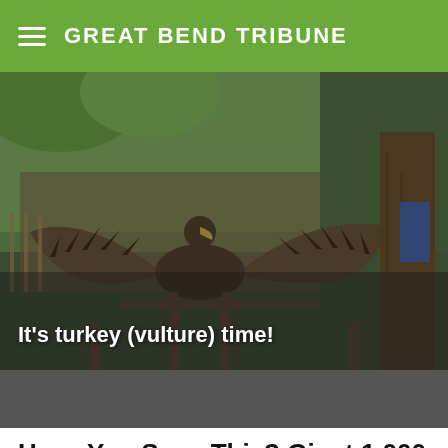GREAT BEND TRIBUNE
[Figure (photo): Wooden vulture sculpture with spread wings in an outdoor setting with trees and greenery]
It's turkey (vulture) time!
[Figure (other): Dark gray advertisement bar]
Have You Seen This? Giant 1,000 lb. bear is made of nightmare juice
[Figure (photo): Large brown bear resting on grassy ground with trees in background]